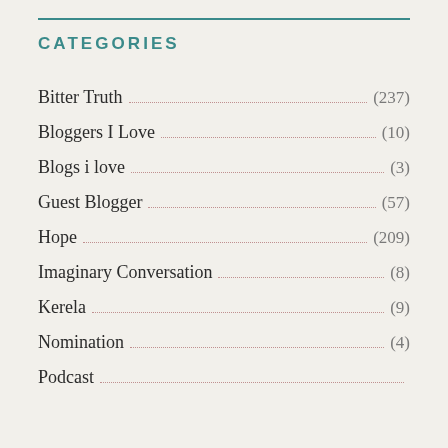CATEGORIES
Bitter Truth (237)
Bloggers I Love (10)
Blogs i love (3)
Guest Blogger (57)
Hope (209)
Imaginary Conversation (8)
Kerela (9)
Nomination (4)
Podcast (?)